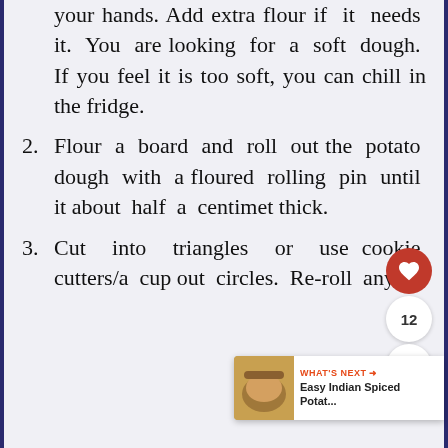your hands. Add extra flour if it needs it. You are looking for a soft dough. If you feel it is too soft, you can chill in the fridge.
2. Flour a board and roll out the potato dough with a floured rolling pin until it about half a centimet thick.
3. Cut into triangles or use cookie cutters/a cup out circles. Re-roll any leftovers and repeat until